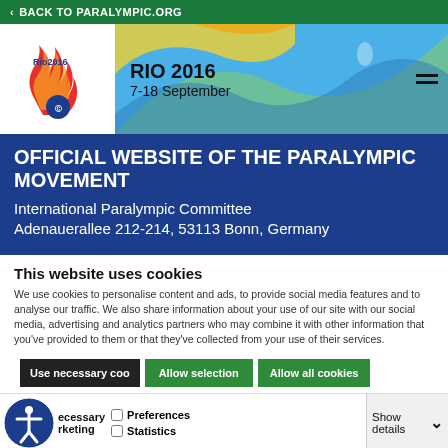< BACK TO PARALYMPIC.ORG
[Figure (logo): Rio 2016 Paralympic Games logo with colorful swirl design]
RIO 2016
7-18 September
OFFICIAL WEBSITE OF THE PARALYMPIC MOVEMENT
International Paralympic Committee
Adenauerallee 212-214, 53113 Bonn, Germany
This website uses cookies
We use cookies to personalise content and ads, to provide social media features and to analyse our traffic. We also share information about your use of our site with our social media, advertising and analytics partners who may combine it with other information that you've provided to them or that they've collected from your use of their services.
Use necessary coo | Allow selection | Allow all cookies
Necessary  Preferences  Statistics  Show details